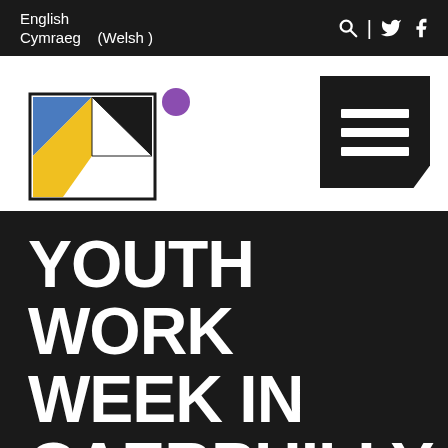English
Cymraeg (Welsh)
[Figure (logo): Caerphilly Council logo: geometric shapes (blue triangle, yellow triangle, white triangle) in a square frame with a purple dot, stylized letter M/K]
YOUTH WORK WEEK IN CAERPHILLY
Caerphilly County Borough Council (partial)